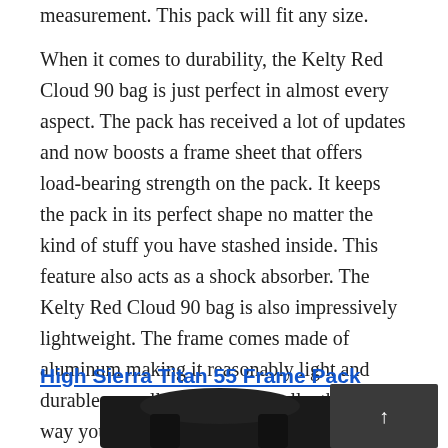measurement. This pack will fit any size.
When it comes to durability, the Kelty Red Cloud 90 bag is just perfect in almost every aspect. The pack has received a lot of updates and now boosts a frame sheet that offers load-bearing strength on the pack. It keeps the pack in its perfect shape no matter the kind of stuff you have stashed inside. This feature also acts as a shock absorber. The Kelty Red Cloud 90 bag is also impressively lightweight. The frame comes made of aluminum making it reasonably light and durable as well.  In the end, really, there is no way you will go wrong with the backpack. It is worth checking out.
High Sierra Titan 55 Frame Pack
[Figure (photo): Partial view of a black High Sierra Titan 55 Frame Pack backpack, with a dark overlay box in the bottom right corner containing an upward arrow.]